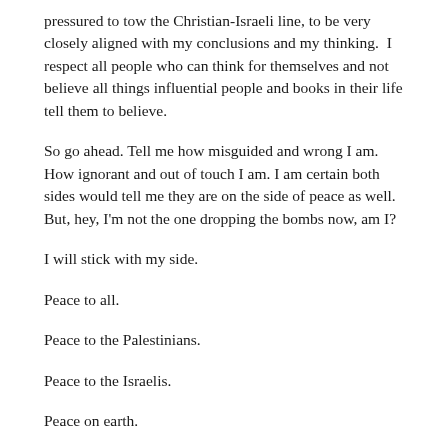pressured to tow the Christian-Israeli line, to be very closely aligned with my conclusions and my thinking.  I respect all people who can think for themselves and not believe all things influential people and books in their life tell them to believe.
So go ahead. Tell me how misguided and wrong I am. How ignorant and out of touch I am. I am certain both sides would tell me they are on the side of peace as well. But, hey, I'm not the one dropping the bombs now, am I?
I will stick with my side.
Peace to all.
Peace to the Palestinians.
Peace to the Israelis.
Peace on earth.
Peace out.